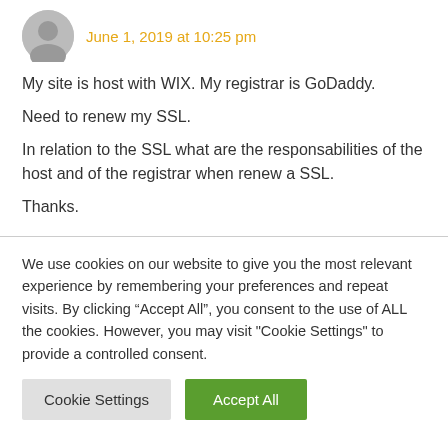June 1, 2019 at 10:25 pm
My site is host with WIX. My registrar is GoDaddy.
Need to renew my SSL.
In relation to the SSL what are the responsabilities of the host and of the registrar when renew a SSL.

Thanks.
We use cookies on our website to give you the most relevant experience by remembering your preferences and repeat visits. By clicking “Accept All”, you consent to the use of ALL the cookies. However, you may visit "Cookie Settings" to provide a controlled consent.